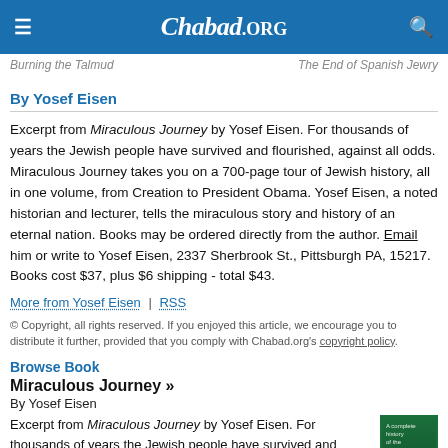Chabad.ORG
Burning the Talmud   The End of Spanish Jewry
By Yosef Eisen
Excerpt from Miraculous Journey by Yosef Eisen. For thousands of years the Jewish people have survived and flourished, against all odds. Miraculous Journey takes you on a 700-page tour of Jewish history, all in one volume, from Creation to President Obama. Yosef Eisen, a noted historian and lecturer, tells the miraculous story and history of an eternal nation. Books may be ordered directly from the author. Email him or write to Yosef Eisen, 2337 Sherbrook St., Pittsburgh PA, 15217. Books cost $37, plus $6 shipping - total $43.
More from Yosef Eisen | RSS
© Copyright, all rights reserved. If you enjoyed this article, we encourage you to distribute it further, provided that you comply with Chabad.org's copyright policy.
Browse Book
Miraculous Journey »
By Yosef Eisen
Excerpt from Miraculous Journey by Yosef Eisen. For thousands of years the Jewish people have survived and